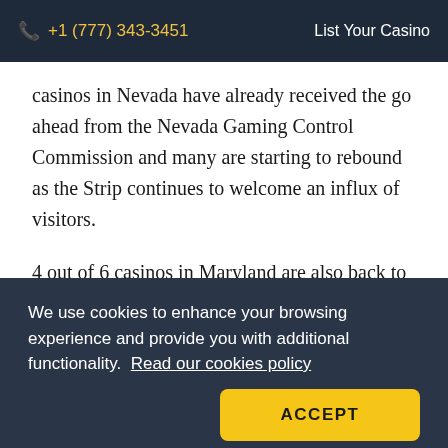📞 +1 (777) 343-3451   List Your Casino
casinos in Nevada have already received the go ahead from the Nevada Gaming Control Commission and many are starting to rebound as the Strip continues to welcome an influx of visitors.
4 out of 6 casinos in Maryland are also back to normal operations while the Garden State is expected to ease its restrictions any day now on May 19th.  The changes that are occurring in these states as well as many others to come are a
We use cookies to enhance your browsing experience and provide you with additional functionality.  Read our cookies policy
ACCEPT